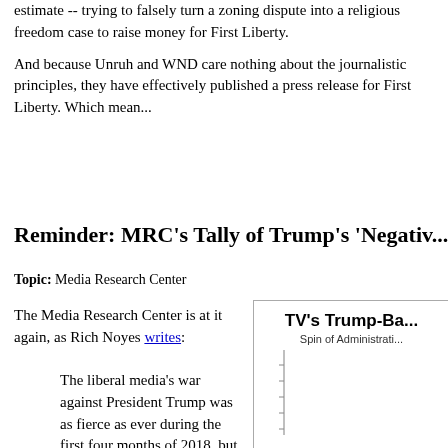estimate -- trying to falsely turn a zoning dispute into a religious freedom case to raise money for First Liberty.
And because Unruh and WND care nothing about the journalistic principles, they have effectively published a press release for First Liberty. Which mean...
Reminder: MRC's Tally of Trump's 'Negativ...
Topic: Media Research Center
The Media Research Center is at it again, as Rich Noyes writes:
The liberal media’s war against President Trump was as fierce as ever during the first four months of 2018, but the onslaught appears to be for
[Figure (other): Partial chart titled 'TV's Trump-Ba...' with subtitle 'Spin of Administrati...' showing a vertical bar chart with tick marks on y-axis, partially cropped.]